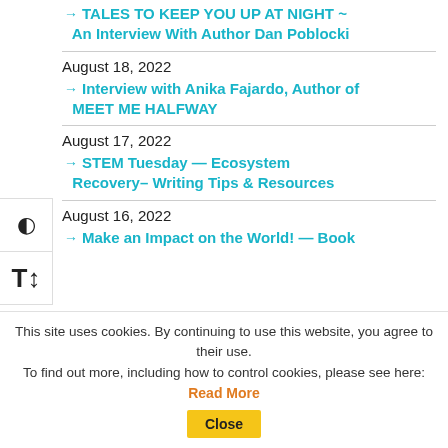→ TALES TO KEEP YOU UP AT NIGHT ~ An Interview With Author Dan Poblocki
August 18, 2022
→ Interview with Anika Fajardo, Author of MEET ME HALFWAY
August 17, 2022
→ STEM Tuesday — Ecosystem Recovery– Writing Tips & Resources
August 16, 2022
→ Make an Impact on the World! — Book
This site uses cookies. By continuing to use this website, you agree to their use. To find out more, including how to control cookies, please see here: Read More